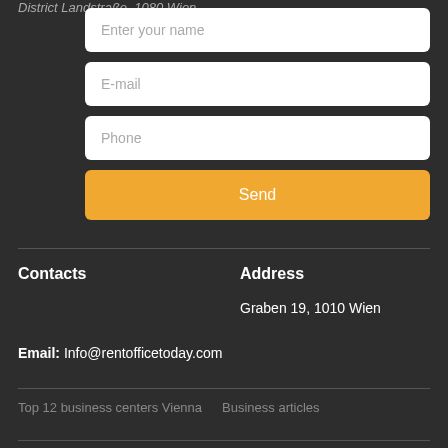District Landstraße, 1080 Wien
Enter your name
E-mail
Phone
Send
Contacts
Address
Graben 19, 1010 Wien
Email: Info@rentofficetoday.com
Top 12 business centers Vienna    Business articles